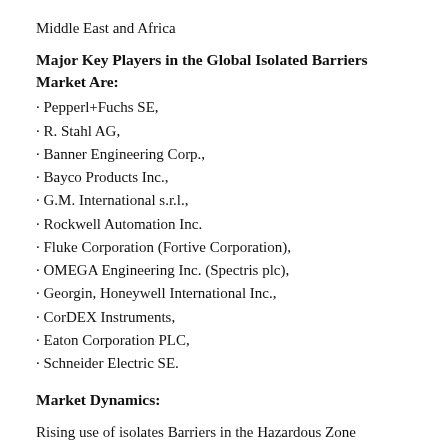Middle East and Africa
Major Key Players in the Global Isolated Barriers Market Are:
· Pepperl+Fuchs SE,
· R. Stahl AG,
· Banner Engineering Corp.,
· Bayco Products Inc.,
· G.M. International s.r.l.,
· Rockwell Automation Inc.
· Fluke Corporation (Fortive Corporation),
· OMEGA Engineering Inc. (Spectris plc),
· Georgin, Honeywell International Inc.,
· CorDEX Instruments,
· Eaton Corporation PLC,
· Schneider Electric SE.
Market Dynamics:
Rising use of isolates Barriers in the Hazardous Zone Aids in the Market Growth...